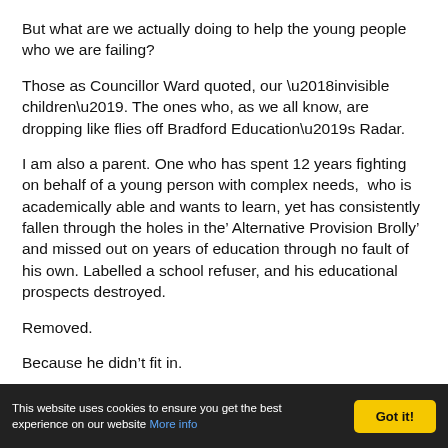But what are we actually doing to help the young people who we are failing?
Those as Councillor Ward quoted, our ‘invisible children’. The ones who, as we all know, are dropping like flies off Bradford Education’s Radar.
I am also a parent. One who has spent 12 years fighting on behalf of a young person with complex needs,  who is academically able and wants to learn, yet has consistently fallen through the holes in the’ Alternative Provision Brolly’ and missed out on years of education through no fault of his own. Labelled a school refuser, and his educational prospects destroyed.
Removed.
Because he didn’t fit in.
This website uses cookies to ensure you get the best experience on our website More info  Got it!